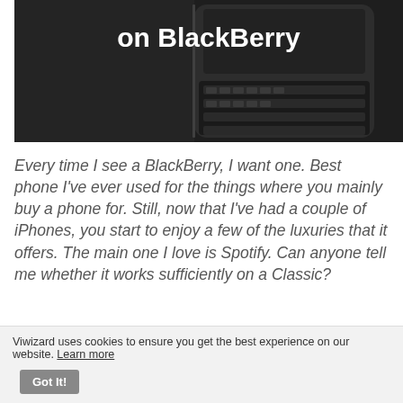[Figure (photo): Dark photograph of a BlackBerry phone with physical keyboard, dark background. White bold text overlay reading 'on BlackBerry']
Every time I see a BlackBerry, I want one. Best phone I've ever used for the things where you mainly buy a phone for. Still, now that I've had a couple of iPhones, you start to enjoy a few of the luxuries that it offers. The main one I love is Spotify. Can anyone tell me whether it works sufficiently on a Classic?
If you want to have a BlackBerry phone or you already have one, you definitely will need to give Spotify...
Viwizard uses cookies to ensure you get the best experience on our website. Learn more Got It!